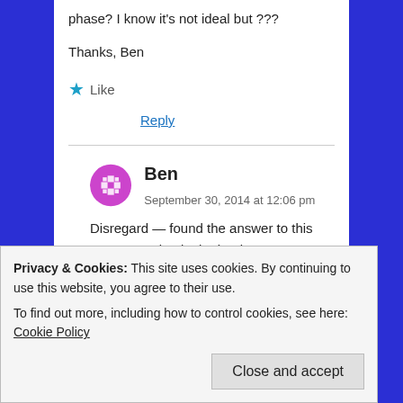phase? I know it's not ideal but ???
Thanks, Ben
★ Like
Reply
Ben  September 30, 2014 at 12:06 pm
Disregard — found the answer to this exact question in the book. Sorry!
Privacy & Cookies: This site uses cookies. By continuing to use this website, you agree to their use.
To find out more, including how to control cookies, see here: Cookie Policy
Close and accept